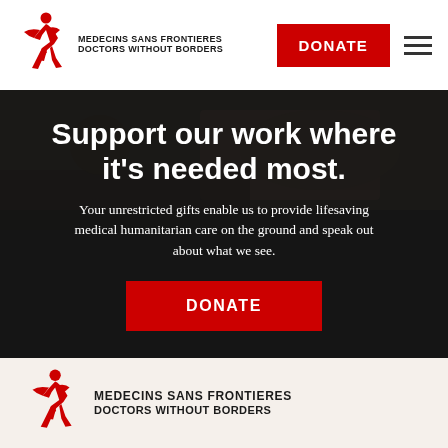[Figure (logo): Médecins Sans Frontières / Doctors Without Borders logo with red running figure icon and organization name in bold]
DONATE
[Figure (photo): Dark background hero image showing people in a field, dimly lit outdoor scene]
Support our work where it's needed most.
Your unrestricted gifts enable us to provide lifesaving medical humanitarian care on the ground and speak out about what we see.
DONATE
[Figure (logo): Médecins Sans Frontières / Doctors Without Borders logo footer version with red running figure icon]